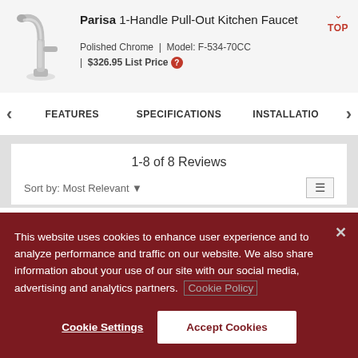[Figure (photo): Chrome pull-out kitchen faucet product image]
Parisa 1-Handle Pull-Out Kitchen Faucet
Polished Chrome | Model: F-534-70CC | $326.95 List Price
TOP
FEATURES
SPECIFICATIONS
INSTALLATIO
1-8 of 8 Reviews
Sort by: Most Relevant
This website uses cookies to enhance user experience and to analyze performance and traffic on our website. We also share information about your use of our site with our social media, advertising and analytics partners. Cookie Policy
Cookie Settings
Accept Cookies